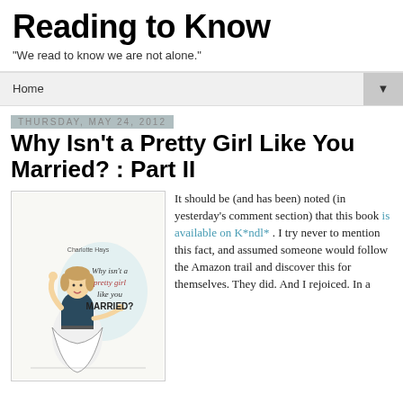Reading to Know
"We read to know we are not alone."
Home ▼
Thursday, May 24, 2012
Why Isn't a Pretty Girl Like You Married? : Part II
[Figure (illustration): Book cover illustration showing a vintage 1950s-style woman in an apron pointing, with text 'Why isn't a pretty girl like you MARRIED?']
It should be (and has been) noted (in yesterday's comment section) that this book is available on K*ndl* . I try never to mention this fact, and assumed someone would follow the Amazon trail and discover this for themselves. They did. And I rejoiced. In a